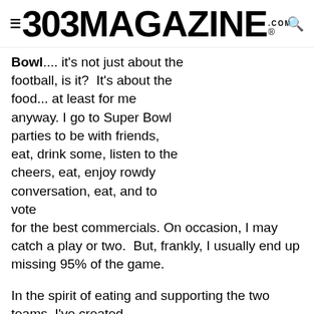303 MAGAZINE.COM ®
Bowl.... it's not just about the football, is it? It's about the food... at least for me anyway. I go to Super Bowl parties to be with friends, eat, drink some, listen to the cheers, eat, enjoy rowdy conversation, eat, and to vote for the best commercials. On occasion, I may catch a play or two. But, frankly, I usually end up missing 95% of the game.

In the spirit of eating and supporting the two teams, I've created